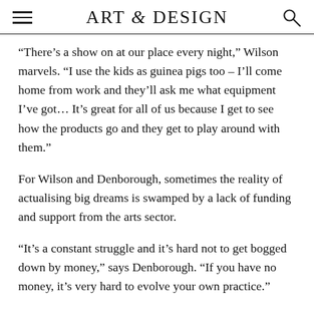ART & DESIGN
“There’s a show on at our place every night,” Wilson marvels. “I use the kids as guinea pigs too – I’ll come home from work and they’ll ask me what equipment I’ve got… It’s great for all of us because I get to see how the products go and they get to play around with them.”
For Wilson and Denborough, sometimes the reality of actualising big dreams is swamped by a lack of funding and support from the arts sector.
“It’s a constant struggle and it’s hard not to get bogged down by money,” says Denborough. “If you have no money, it’s very hard to evolve your own practice.”
“It really is [about] passion and tenacity. You’ve got to be a believer,” Wilson adds. “Along the road of arts funding in Australia there are all sorts of disappointments all the